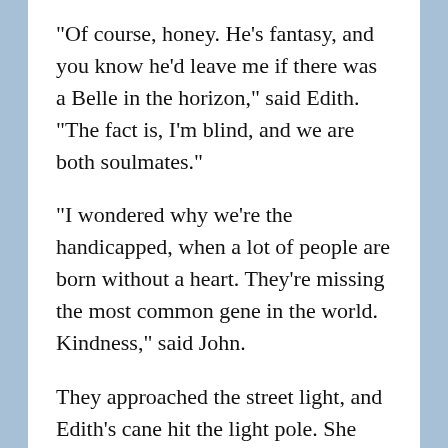"Of course, honey. He's fantasy, and you know he'd leave me if there was a Belle in the horizon," said Edith. "The fact is, I'm blind, and we are both soulmates."
"I wondered why we're the handicapped, when a lot of people are born without a heart. They're missing the most common gene in the world. Kindness," said John.
They approached the street light, and Edith's cane hit the light pole. She pressed the button and heard the beeps as John held her free hand tight as they were about to cross the street.
"You know how people helped us when we were little?" asked Edith. "I bet they never stopped